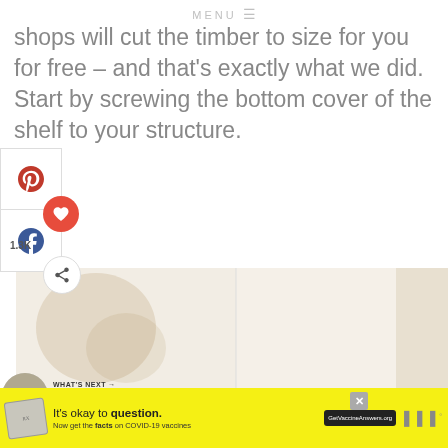MENU
shops will cut the timber to size for you for free – and that's exactly what we did. Start by screwing the bottom cover of the shelf to your structure.
[Figure (photo): Photo of a wooden shelf board being installed against a white/cream wall, showing the timber plank screwed to a structure]
WHAT'S NEXT → How To Build & Install Sup...
It's okay to question. Now get the facts on COVID-19 vaccines GetVaccineAnswers.org